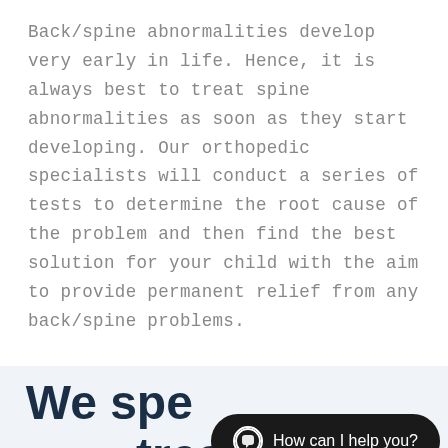Back/spine abnormalities develop very early in life. Hence, it is always best to treat spine abnormalities as soon as they start developing. Our orthopedic specialists will conduct a series of tests to determine the root cause of the problem and then find the best solution for your child with the aim to provide permanent relief from any back/spine problems.
We spe treating conditions